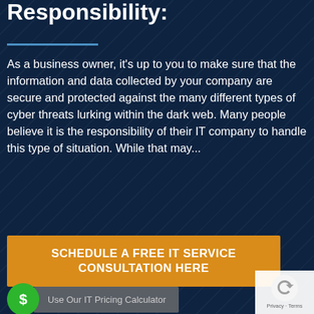Responsibility:
As a business owner, it’s up to you to make sure that the information and data collected by your company are secure and protected against the many different types of cyber threats lurking within the dark web. Many people believe it is the responsibility of their IT company to handle this type of situation. While that may...
SCHEDULE A FREE IT SERVICE CONSULTATION HERE
$ Use Our IT Pricing Calculator
[Figure (logo): Google reCAPTCHA logo with circular arrow icon and Privacy/Terms links]